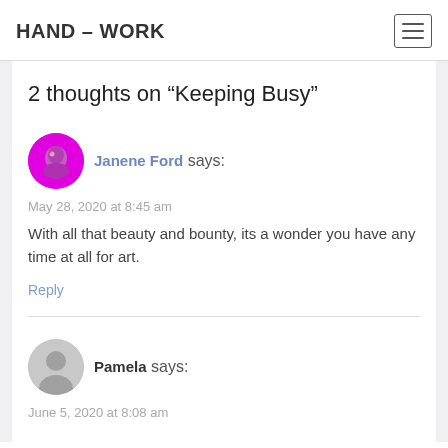HAND – WORK
2 thoughts on “Keeping Busy”
Janene Ford says:
May 28, 2020 at 8:45 am
With all that beauty and bounty, its a wonder you have any time at all for art.
Reply
Pamela says:
June 5, 2020 at 8:08 am